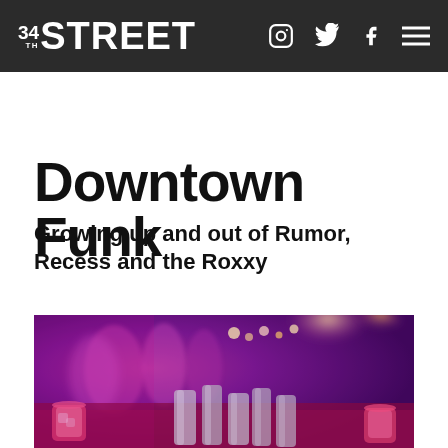34TH STREET
Downtown Funk
Growing up and out of Rumor, Recess and the Roxxy
[Figure (photo): Nightclub interior with purple/magenta lighting, blurred people dancing in background, cocktail glasses and metal bar shakers in foreground]